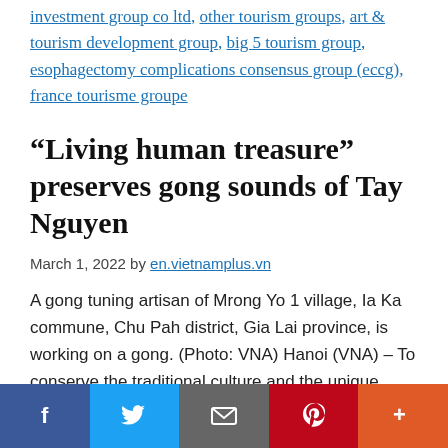investment group co ltd, other tourism groups, art & tourism development group, big 5 tourism group, esophagectomy complications consensus group (eccg), france tourisme groupe
“Living human treasure” preserves gong sounds of Tay Nguyen
March 1, 2022 by en.vietnamplus.vn
A gong tuning artisan of Mrong Yo 1 village, Ia Ka commune, Chu Pah district, Gia Lai province, is working on a gong. (Photo: VNA) Hanoi (VNA) – To conserve the traditional culture and the unique
[Figure (other): Social media share bar with Facebook, Twitter, email, Pinterest, and more buttons]